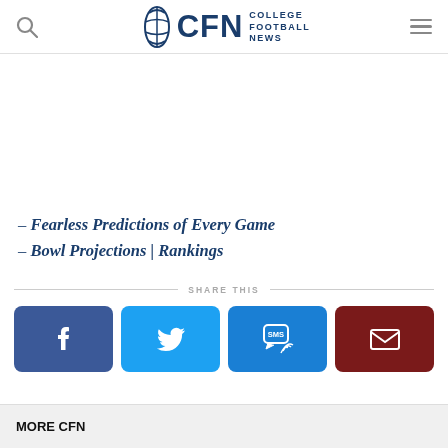CFN College Football News
– Fearless Predictions of Every Game
– Bowl Projections | Rankings
SHARE THIS
[Figure (screenshot): Four social share buttons: Facebook (blue), Twitter (light blue), SMS (blue), Email (dark red)]
MORE CFN